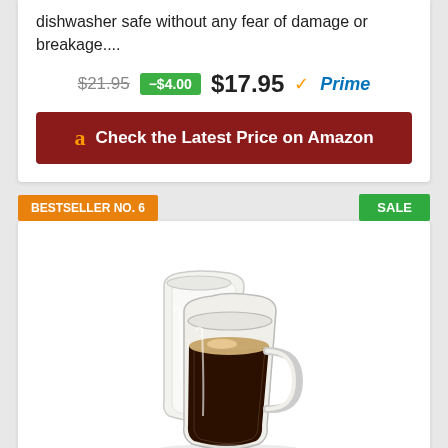dishwasher safe without any fear of damage or breakage....
$21.95   -$4.00   $17.95 Prime
Check the Latest Price on Amazon
BESTSELLER NO. 6
SALE
[Figure (photo): Two double-walled glass coffee mugs, one taller empty mug behind and one shorter mug with coffee in front]
2-Pack 12 Oz Double Walled Glass Coffee Mugs with...